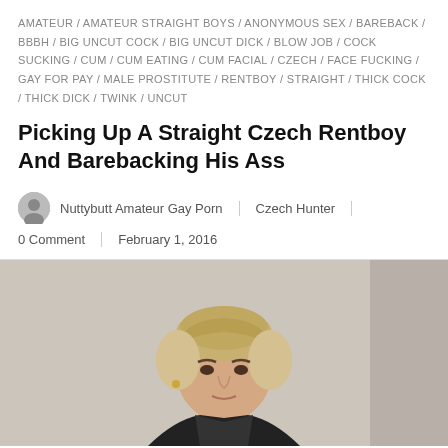AMATEUR / AMATEUR STRAIGHT BOYS / ANONYMOUS SEX / BAREBACK / BBBH / BIG UNCUT COCK / BIG UNCUT DICK / BLOW JOB / COCK SUCKING / CUM / CUM EATING / CUM FACIAL / CZECH / FACE FUCKING / GAY FOR PAY / MALE PROSTITUTE / RENTBOY / STRAIGHT / THICK COCK / THICK DICK / TWINK / UNCUT
Picking Up A Straight Czech Rentboy And Barebacking His Ass
Nuttybutt Amateur Gay Porn | Czech Hunter
0 Comment | February 1, 2016
[Figure (photo): Young man with short blond hair, close-up portrait photo]